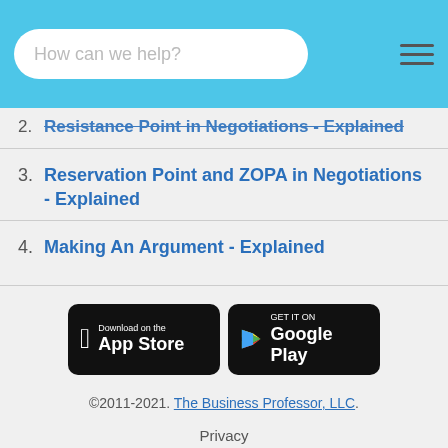How can we help?
2. Resistance Point in Negotiations - Explained
3. Reservation Point and ZOPA in Negotiations - Explained
4. Making An Argument - Explained
[Figure (screenshot): App Store download button (black rounded rectangle with Apple logo, 'Download on the App Store')]
[Figure (screenshot): Google Play download button (black rounded rectangle with Play Store logo, 'GET IT ON Google Play')]
©2011-2021. The Business Professor, LLC.
Privacy
Questions